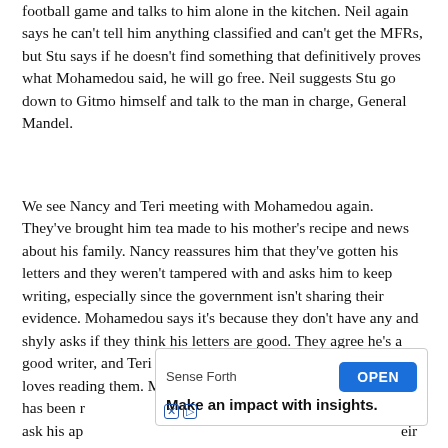football game and talks to him alone in the kitchen. Neil again says he can't tell him anything classified and can't get the MFRs, but Stu says if he doesn't find something that definitively proves what Mohamedou said, he will go free. Neil suggests Stu go down to Gitmo himself and talk to the man in charge, General Mandel.
We see Nancy and Teri meeting with Mohamedou again. They've brought him tea made to his mother's recipe and news about his family. Nancy reassures him that they've gotten his letters and they weren't tampered with and asks him to keep writing, especially since the government isn't sharing their evidence. Mohamedou says it's because they don't have any and shyly asks if they think his letters are good. They agree he's a good writer, and Teri mentions that even the Privilege Team loves reading them. Mohamedou freaks out that someone else has been r[...] d ask his ap[...] eir